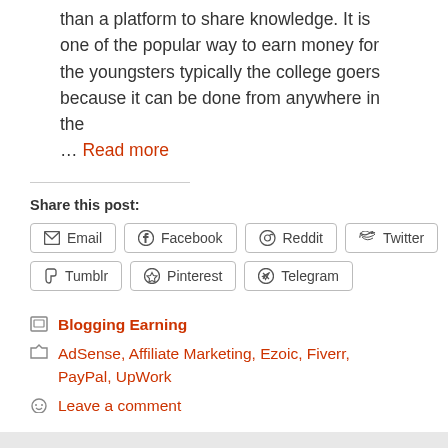than a platform to share knowledge. It is one of the popular way to earn money for the youngsters typically the college goers because it can be done from anywhere in the … Read more
Share this post:
Email  Facebook  Reddit  Twitter  Tumblr  Pinterest  Telegram
Blogging Earning
AdSense, Affiliate Marketing, Ezoic, Fiverr, PayPal, UpWork
Leave a comment